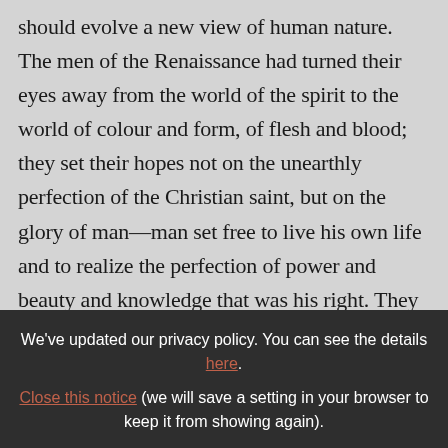should evolve a new view of human nature. The men of the Renaissance had turned their eyes away from the world of the spirit to the world of colour and form, of flesh and blood; they set their hopes not on the unearthly perfection of the Christian saint, but on the glory of man—man set free to live his own life and to realize the perfection of power and beauty and knowledge that was his right. They returned to the old Ionian conception of
We've updated our privacy policy. You can see the details here. Close this notice (we will save a setting in your browser to keep it from showing again).